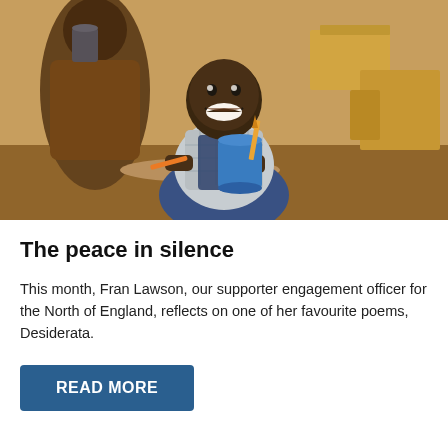[Figure (photo): A smiling young African boy at a table holding a blue mug with a pencil in it. An adult in a brown outfit stands behind him holding a metal cup. Cardboard boxes are visible in the background.]
The peace in silence
This month, Fran Lawson, our supporter engagement officer for the North of England, reflects on one of her favourite poems, Desiderata.
READ MORE